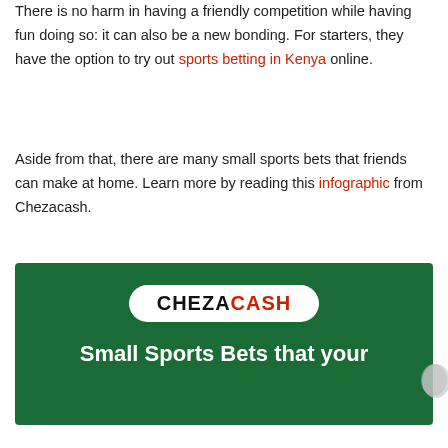There is no harm in having a friendly competition while having fun doing so: it can also be a new bonding. For starters, they have the option to try out sports betting in Kenya online.
Aside from that, there are many small sports bets that friends can make at home. Learn more by reading this infographic from Chezacash.
[Figure (infographic): Chezacash banner with dark green background, white oval logo pill showing 'CHEZACASH' in black and red, and partial white headline text 'Small Sports Bets that your' visible at bottom]